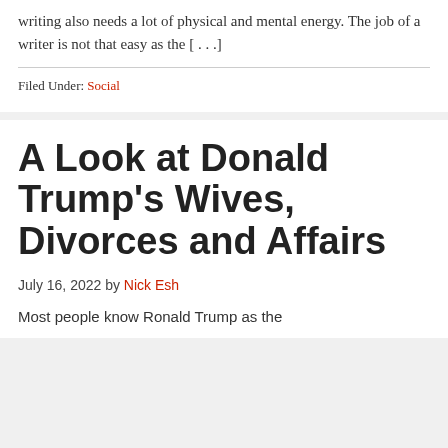writing also needs a lot of physical and mental energy. The job of a writer is not that easy as the [...]
Filed Under: Social
A Look at Donald Trump's Wives, Divorces and Affairs
July 16, 2022 by Nick Esh
Most people know Ronald Trump as the